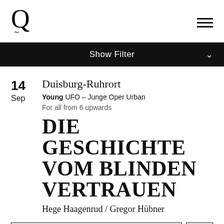Q (logo) / hamburger menu
Show Filter
14
Sep
Duisburg-Ruhrort
Young UFO – Junge Oper Urban
For all from 6 upwards
DIE GESCHICHTE VOM BLINDEN VERTRAUEN
Hege Haagenrud / Gregor Hübner
Tickets
€ 10